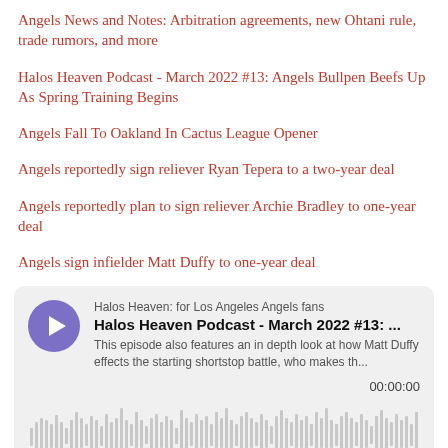Angels News and Notes: Arbitration agreements, new Ohtani rule, trade rumors, and more
Halos Heaven Podcast - March 2022 #13: Angels Bullpen Beefs Up As Spring Training Begins
Angels Fall To Oakland In Cactus League Opener
Angels reportedly sign reliever Ryan Tepera to a two-year deal
Angels reportedly plan to sign reliever Archie Bradley to one-year deal
Angels sign infielder Matt Duffy to one-year deal
[Figure (screenshot): Podcast player card for 'Halos Heaven Podcast - March 2022 #13' from 'Halos Heaven: for Los Angeles Angels fans'. Shows a purple play button, channel name, episode title, description excerpt 'This episode also features an in depth look at how Matt Duffy effects the starting shortstop battle, who makes th...', timestamp 00:00:00, and an audio waveform visualization.]